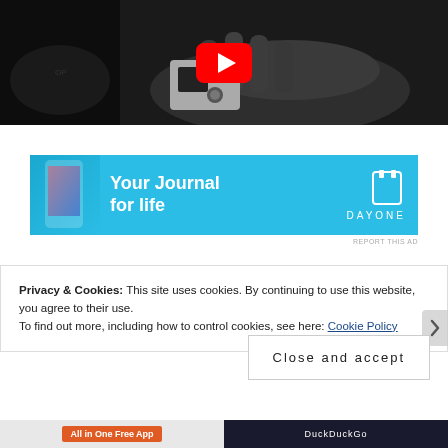[Figure (photo): Black and white video thumbnail showing a GoPro HERO3 camera being held in a hand, with a YouTube play button overlay in red and white at the top center]
[Figure (photo): Advertisement banner for DayOne app — 'Your Journal for life' — on a blue background with a phone image on the left and the DayOne logo on the right]
REPORT THIS AD
Privacy & Cookies: This site uses cookies. By continuing to use this website, you agree to their use.
To find out more, including how to control cookies, see here: Cookie Policy
Close and accept